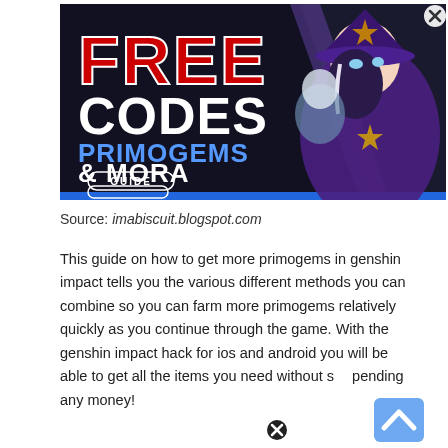[Figure (illustration): Promotional banner for a Genshin Impact guide titled FREE CODES PRIMOGEMS & MORA with a GUIDE button, featuring anime characters on a dark background]
Source: imabiscuit.blogspot.com
This guide on how to get more primogems in genshin impact tells you the various different methods you can combine so you can farm more primogems relatively quickly as you continue through the game. With the genshin impact hack for ios and android you will be able to get all the items you need without spending any money!